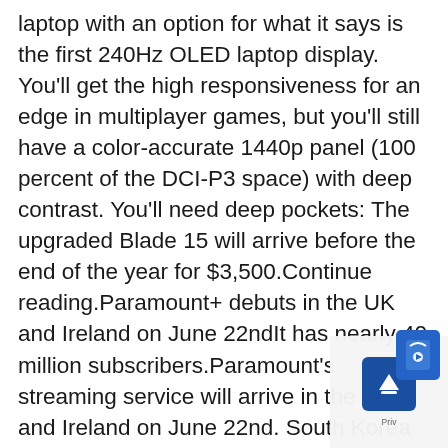laptop with an option for what it says is the first 240Hz OLED laptop display. You'll get the high responsiveness for an edge in multiplayer games, but you'll still have a color-accurate 1440p panel (100 percent of the DCI-P3 space) with deep contrast. You'll need deep pockets: The upgraded Blade 15 will arrive before the end of the year for $3,500.Continue reading.Paramount+ debuts in the UK and Ireland on June 22ndIt has nearly 40 million subscribers.Paramount's streaming service will arrive in the UK and Ireland on June 22nd. South Korea will also have access sometime in June. For everywhere else, you'll have to wait until the second half of 2022.The company announced it added 6.8 million new Paramount+ subscribers in the first quarter of